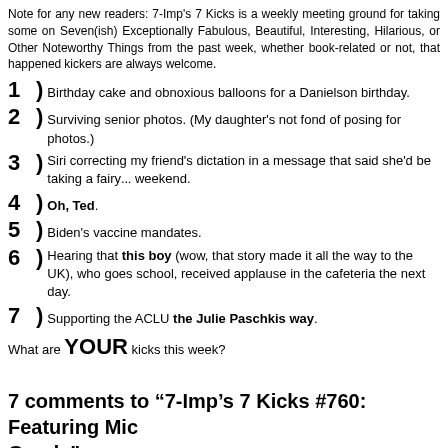Note for any new readers: 7-Imp's 7 Kicks is a weekly meeting ground for taking some on Seven(ish) Exceptionally Fabulous, Beautiful, Interesting, Hilarious, or Other Noteworthy Things from the past week, whether book-related or not, that happen... kickers are always welcome.
1) Birthday cake and obnoxious balloons for a Danielson birthday.
2) Surviving senior photos. (My daughter's not fond of posing for photos.)
3) Siri correcting my friend's dictation in a message that said she'd be taking a fairy... weekend.
4) Oh, Ted.
5) Biden's vaccine mandates.
6) Hearing that this boy (wow, that story made it all the way to the UK), who goes school, received applause in the cafeteria the next day.
7) Supporting the ACLU the Julie Paschkis way.
What are YOUR kicks this week?
7 comments to “7-Imp’s 7 Kicks #760: Featuring Mic Goade”